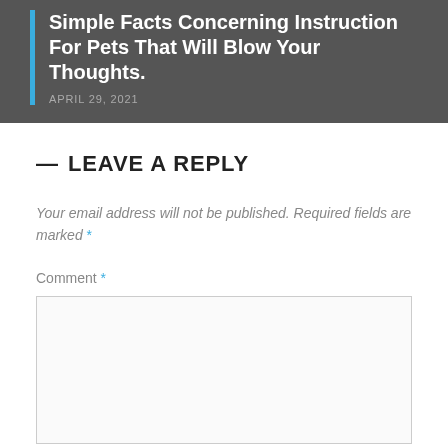Simple Facts Concerning Instruction For Pets That Will Blow Your Thoughts.
APRIL 29, 2021
— LEAVE A REPLY
Your email address will not be published. Required fields are marked *
Comment *